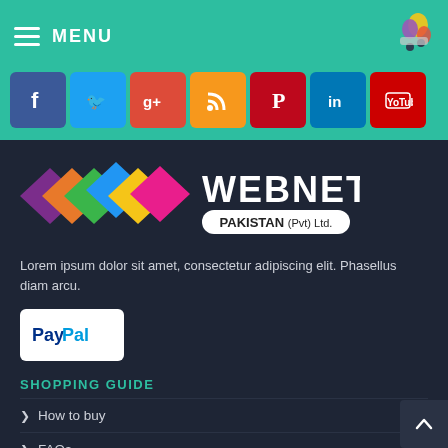MENU
[Figure (logo): Social media icon bar with Facebook, Twitter, Google+, RSS, Pinterest, LinkedIn, YouTube]
[Figure (logo): Webnet Pakistan (Pvt) Ltd. logo with colorful diamond shapes and text]
Lorem ipsum dolor sit amet, consectetur adipiscing elit. Phasellus diam arcu.
[Figure (logo): PayPal payment button logo]
SHOPPING GUIDE
How to buy
FAQs
Payment
Shipment
Where is my order?